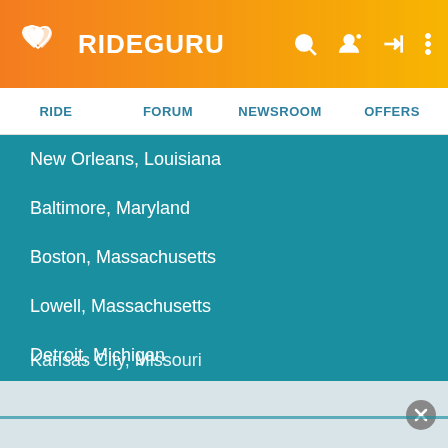[Figure (logo): RideGuru logo with interlocked hearts icon in white on orange/yellow gradient background, with navigation icons on the right (search, user, sign-in, menu)]
RIDE   FORUM   NEWSROOM   OFFERS
New Orleans, Louisiana
Baltimore, Maryland
Boston, Massachusetts
Lowell, Massachusetts
Detroit, Michigan
Minneapolis, Minnesota
Saint Paul, Minnesota
Kansas City, Missouri
Saint Louis, Missouri